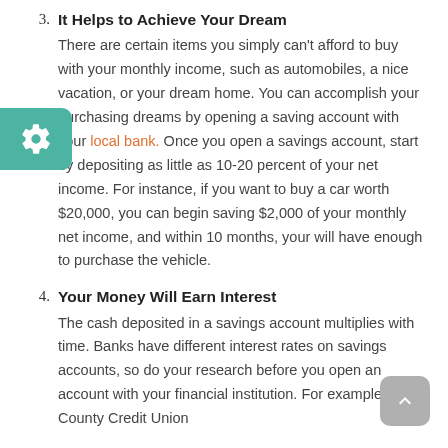3. It Helps to Achieve Your Dream
There are certain items you simply can't afford to buy with your monthly income, such as automobiles, a nice vacation, or your dream home. You can accomplish your purchasing dreams by opening a saving account with your local bank. Once you open a savings account, start by depositing as little as 10-20 percent of your net income. For instance, if you want to buy a car worth $20,000, you can begin saving $2,000 of your monthly net income, and within 10 months, your will have enough to purchase the vehicle.
4. Your Money Will Earn Interest
The cash deposited in a savings account multiplies with time. Banks have different interest rates on savings accounts, so do your research before you open an account with your financial institution. For example, Clark County Credit Union